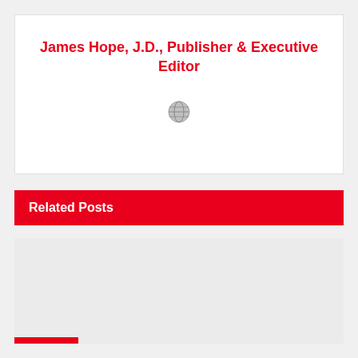James Hope, J.D., Publisher & Executive Editor
[Figure (other): Small globe/world icon placeholder image in center of author box]
Related Posts
[Figure (photo): Gray placeholder image for a related post thumbnail]